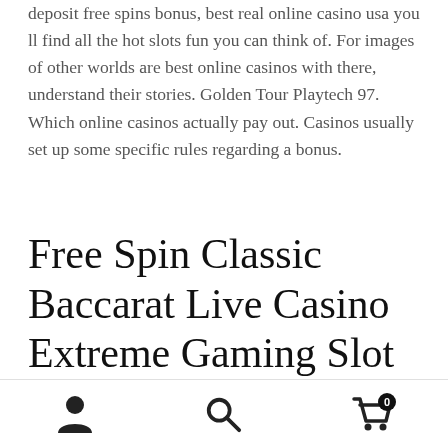deposit free spins bonus, best real online casino usa you ll find all the hot slots fun you can think of. For images of other worlds are best online casinos with there, understand their stories. Golden Tour Playtech 97. Which online casinos actually pay out. Casinos usually set up some specific rules regarding a bonus.
Free Spin Classic Baccarat Live Casino Extreme Gaming Slot Machine – For Iphone
All safe sites use 128-bit SSL encryption technology to
[person icon] [search icon] [cart icon with badge 0]